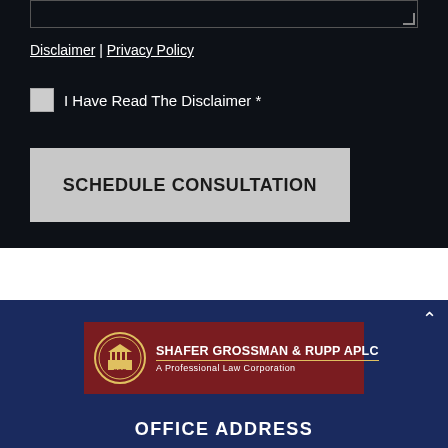[textarea box]
Disclaimer | Privacy Policy
I Have Read The Disclaimer *
SCHEDULE CONSULTATION
[Figure (logo): Shafer Grossman & Rupp APLC logo - maroon rectangle with gold circular emblem showing a courthouse/SGR initials, firm name in white text with gold underline, subtitle 'A Professional Law Corporation']
OFFICE ADDRESS